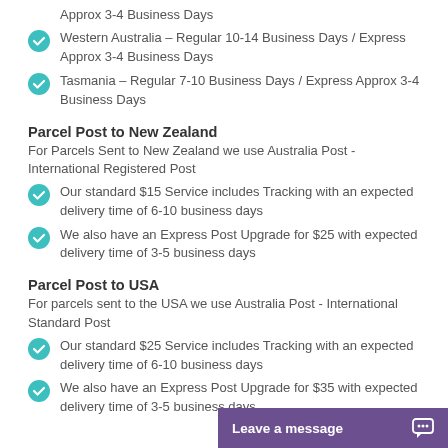Western Australia – Regular 10-14 Business Days / Express Approx 3-4 Business Days
Tasmania – Regular 7-10 Business Days / Express Approx 3-4 Business Days
Parcel Post to New Zealand
For Parcels Sent to New Zealand we use Australia Post - International Registered Post
Our standard $15 Service includes Tracking with an expected delivery time of 6-10 business days
We also have an Express Post Upgrade for $25 with expected delivery time of 3-5 business days
Parcel Post to USA
For parcels sent to the USA we use Australia Post - International Standard Post
Our standard $25 Service includes Tracking with an expected delivery time of 6-10 business days
We also have an Express Post Upgrade for $35 with expected delivery time of 3-5 business days
Leave a message